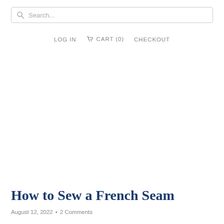Search...
LOG IN  CART (0)  CHECKOUT
How to Sew a French Seam
August 12, 2022 • 2 Comments